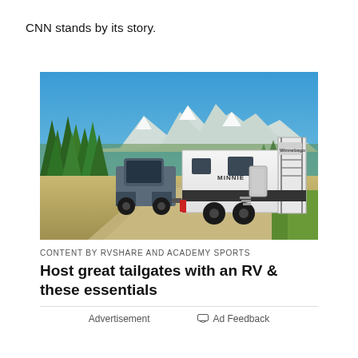CNN stands by its story.
[Figure (photo): A white Winnebago Minnie travel trailer being towed by a truck on a gravel road, with trees and snow-capped mountains in the background under a blue sky.]
CONTENT BY RVSHARE AND ACADEMY SPORTS
Host great tailgates with an RV & these essentials
Advertisement
Ad Feedback